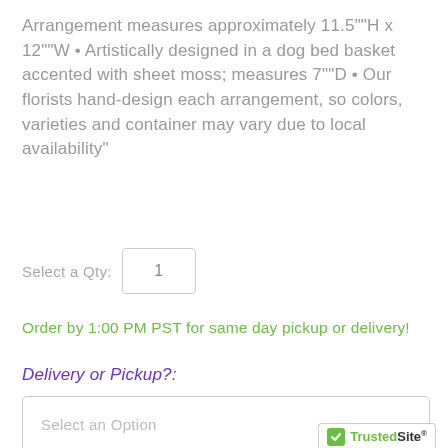Arrangement measures approximately 11.5""H x 12""W • Artistically designed in a dog bed basket accented with sheet moss; measures 7""D • Our florists hand-design each arrangement, so colors, varieties and container may vary due to local availability"
Select a Qty:
Order by 1:00 PM PST for same day pickup or delivery!
Delivery or Pickup?:
Select an Option
[Figure (logo): TrustedSite certified secure badge with green checkmark]